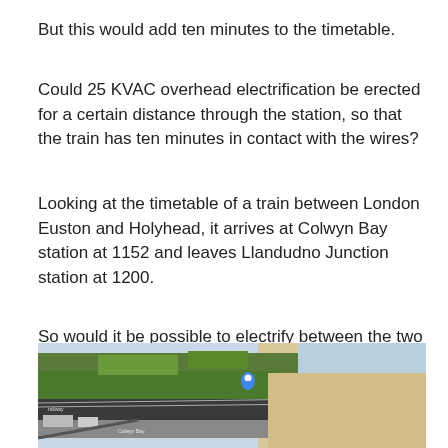But this would add ten minutes to the timetable.
Could 25 KVAC overhead electrification be erected for a certain distance through the station, so that the train has ten minutes in contact with the wires?
Looking at the timetable of a train between London Euston and Holyhead, it arrives at Colwyn Bay station at 1152 and leaves Llandudno Junction station at 1200.
So would it be possible to electrify between the two stations and perhaps a bit further?
This Google Map shows Colwyn Bay Station,
[Figure (map): Google Maps satellite view of Colwyn Bay Station area showing railway tracks, green vegetation, and surrounding roads.]